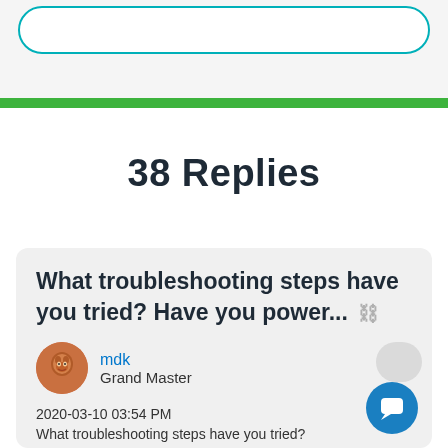[Figure (screenshot): Top section with rounded border input/button area and green bar separator]
38 Replies
What troubleshooting steps have you tried? Have you power... 🔗
mdk
Grand Master
2020-03-10 03:54 PM
What troubleshooting steps have you tried?